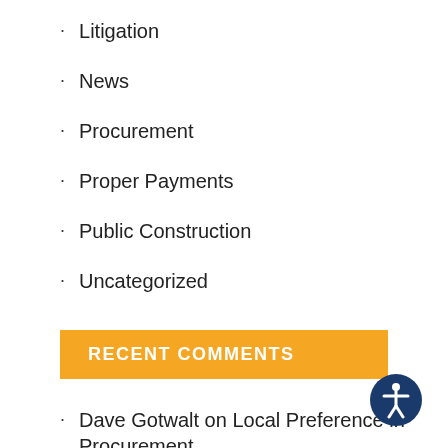Litigation
News
Procurement
Proper Payments
Public Construction
Uncategorized
RECENT COMMENTS
Dave Gotwalt on Local Preference in Procurement
Dorothy (Cobb Law Group) on Resist the